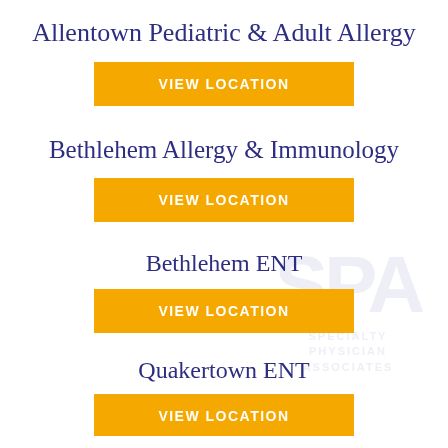Allentown Pediatric & Adult Allergy
VIEW LOCATION
Bethlehem Allergy & Immunology
VIEW LOCATION
Bethlehem ENT
VIEW LOCATION
Quakertown ENT
[Figure (logo): Specialty Physician Associates watermark logo with letters SPA and text SPECIALTY PHYSICIAN ASSOCIATES]